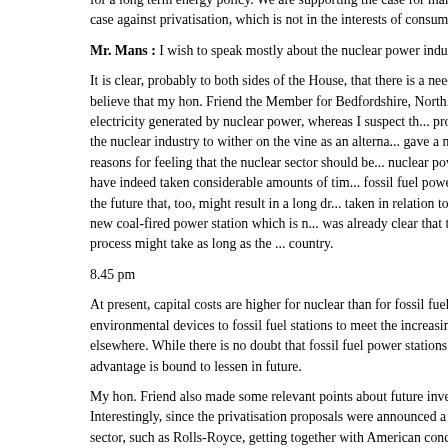for a long term energy policy. We are supporting the case for market r... the case against privatisation, which is not in the interests of consume...
Mr. Mans : I wish to speak mostly about the nuclear power industry.
It is clear, probably to both sides of the House, that there is a need for fuels. I believe that my hon. Friend the Member for Bedfordshire, North... amount of electricity generated by nuclear power, whereas I suspect th... probably prefer the nuclear industry to wither on the vine as an alterna... gave a number of reasons for feeling that the nuclear sector should be... nuclear power stations have indeed taken considerable amounts of tim... fossil fuel power station in the future that, too, might result in a long dr... taken in relation to Fawley B, a new coal-fired power station which is n... was already clear that the planning process might take as long as the ... country.
8.45 pm
At present, capital costs are higher for nuclear than for fossil fuel powe... environmental devices to fossil fuel stations to meet the increasing dem... elsewhere. While there is no doubt that fossil fuel power stations will c... advantage is bound to lessen in future.
My hon. Friend also made some relevant points about future investme... Interestingly, since the privatisation proposals were announced a numb... sector, such as Rolls-Royce, getting together with American concerns... nuclear power stations--perhaps, in some instances, smaller power sta... privatisation, research and development money will no longer be spen... already looking into feasibility studies on replacing the two Magnox sta... PWR design. That, too, is a private sector initiative and shows that the...
It is also worth mentioning that the running costs of nuclear power sta...